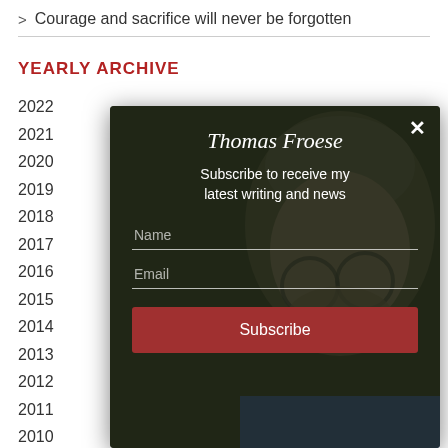> Courage and sacrifice will never be forgotten
YEARLY ARCHIVE
2022
2021
2020
2019
2018
2017
2016
2015
2014
2013
2012
2011
2010
2009
[Figure (screenshot): Modal popup overlay showing Thomas Froese subscription form with name and email fields and subscribe button over a dark photo background of a bearded man with glasses]